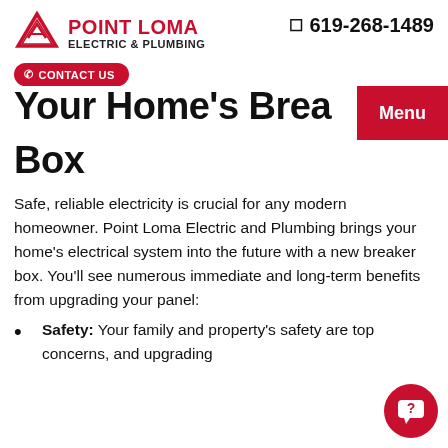Point Loma Electric & Plumbing | 619-268-1489 | CONTACT US
Your Home's Breaker Box
Safe, reliable electricity is crucial for any modern homeowner. Point Loma Electric and Plumbing brings your home's electrical system into the future with a new breaker box. You'll see numerous immediate and long-term benefits from upgrading your panel:
Safety: Your family and property's safety are top concerns, and upgrading